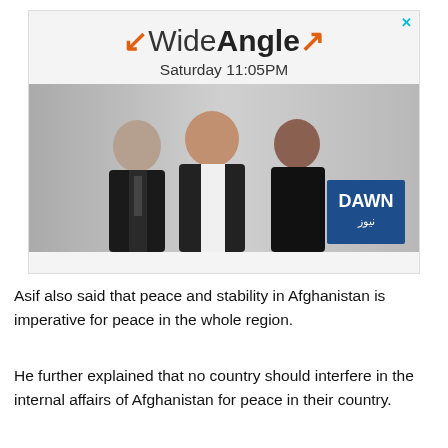[Figure (other): Advertisement banner for 'Wide Angle' TV show on Dawn News. Shows logo with orange arrows and bold text 'WideAngle', text 'Saturday 11:05PM', three men in suits photo, and DAWN News logo in blue box.]
Asif also said that peace and stability in Afghanistan is imperative for peace in the whole region.
He further explained that no country should interfere in the internal affairs of Afghanistan for peace in their country.